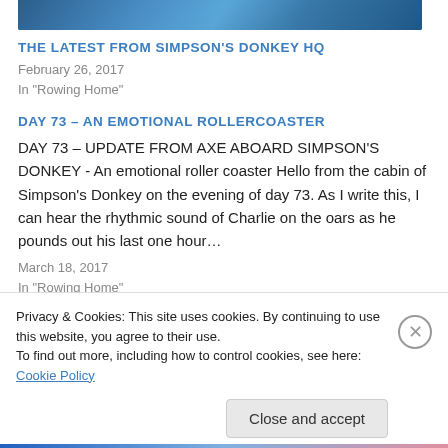[Figure (photo): Partial map/satellite image of ocean area shown at top of page, cropped]
THE LATEST FROM SIMPSON'S DONKEY HQ
February 26, 2017
In "Rowing Home"
DAY 73 – AN EMOTIONAL ROLLERCOASTER
DAY 73 – UPDATE FROM AXE ABOARD SIMPSON'S DONKEY - An emotional roller coaster Hello from the cabin of Simpson's Donkey on the evening of day 73. As I write this, I can hear the rhythmic sound of Charlie on the oars as he pounds out his last one hour…
March 18, 2017
In "Rowing Home"
[Figure (photo): Partial ocean/wave photo shown at bottom of page, partially obscured by cookie banner]
Privacy & Cookies: This site uses cookies. By continuing to use this website, you agree to their use.
To find out more, including how to control cookies, see here: Cookie Policy